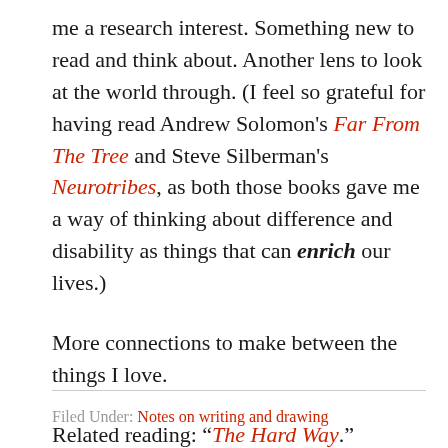me a research interest. Something new to read and think about. Another lens to look at the world through. (I feel so grateful for having read Andrew Solomon's Far From The Tree and Steve Silberman's Neurotribes, as both those books gave me a way of thinking about difference and disability as things that can enrich our lives.)
More connections to make between the things I love.
Related reading: “The Hard Way.”
Filed Under: Notes on writing and drawing